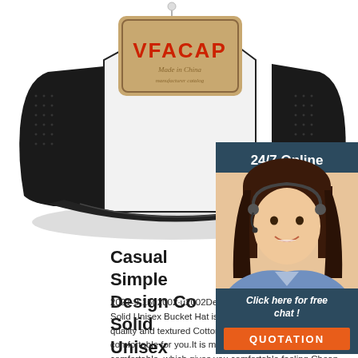[Figure (photo): A black and white trucker-style cap with a beige/tan patch on the front reading 'VFACAP Made in China' in red letters, photographed from a slightly elevated front angle against a white background.]
[Figure (photo): 24/7 Online chat support sidebar with a female customer service agent wearing a headset, with 'Click here for free chat!' text and an orange QUOTATION button.]
Casual Simple Design Cotton Solid Unisex Bucket Hat ...
2021-9-15u2002·u2002Details: This Casual Simple Cotton Solid Unisex Bucket Hat is a must have item! With high quality and textured Cotton, the fit runs casual but remain comfortable for you.It is made of good quality, soft, wear comfortable, which gives you comfortable feeling.Cheap Cap is always on trend, a must have to your wardrobe.This Hats is ...
[Figure (logo): TOP badge/logo in orange and white with decorative dots arranged in an arc above the text.]